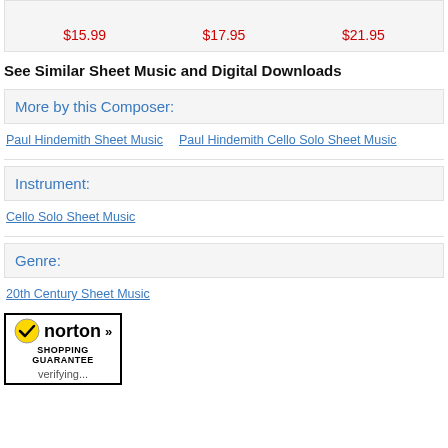| $15.99 | $17.95 | $21.95 |
See Similar Sheet Music and Digital Downloads
More by this Composer:
Paul Hindemith Sheet Music
Paul Hindemith Cello Solo Sheet Music
Instrument:
Cello Solo Sheet Music
Genre:
20th Century Sheet Music
[Figure (logo): Norton Shopping Guarantee badge with checkmark, 'norton' text, double chevron, 'SHOPPING GUARANTEE' text and 'verifying...' label]